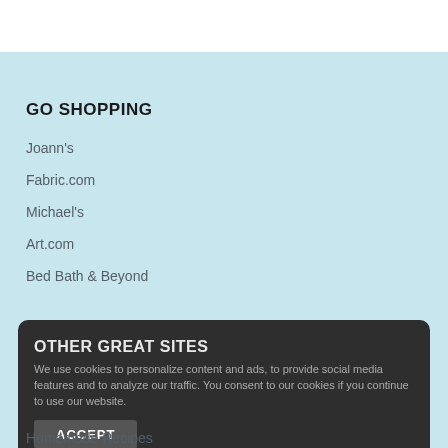GO SHOPPING
Joann's
Fabric.com
Michael's
Art.com
Bed Bath & Beyond
OTHER GREAT SITES
We use cookies to personalize content and ads, to provide social media features and to analyze our traffic. You consent to our cookies if you continue to use our website.
ACCEPT
Homesteading.com
Garden Season
Homemade Recipes